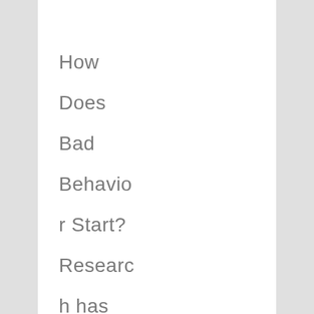How Does Bad Behavior Start? Research has shown that three behaviors are at the core of what would cause or allow